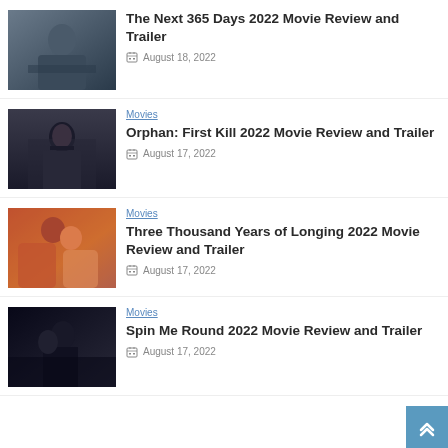[Figure (photo): Movie still from The Next 365 Days 2022 - person sitting in a chair]
The Next 365 Days 2022 Movie Review and Trailer
August 18, 2022
[Figure (photo): Movie still from Orphan: First Kill 2022 - dark-haired girl in dark outfit]
Movies
Orphan: First Kill 2022 Movie Review and Trailer
August 17, 2022
[Figure (photo): Movie poster from Three Thousand Years of Longing 2022 - figures in red robes]
Movies
Three Thousand Years of Longing 2022 Movie Review and Trailer
August 17, 2022
[Figure (photo): Movie still from Spin Me Round 2022 - woman in black dress]
Movies
Spin Me Round 2022 Movie Review and Trailer
August 17, 2022